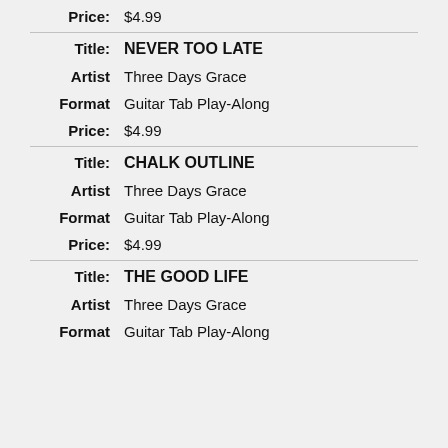Price: $4.99
Title: NEVER TOO LATE
Artist: Three Days Grace
Format: Guitar Tab Play-Along
Price: $4.99
Title: CHALK OUTLINE
Artist: Three Days Grace
Format: Guitar Tab Play-Along
Price: $4.99
Title: THE GOOD LIFE
Artist: Three Days Grace
Format: Guitar Tab Play-Along